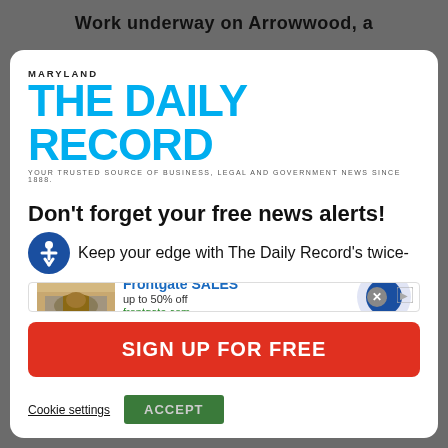Work underway on Arrowwood, a
[Figure (logo): Maryland The Daily Record logo - blue bold masthead with tagline 'YOUR TRUSTED SOURCE OF BUSINESS, LEGAL AND GOVERNMENT NEWS SINCE 1888.']
Don't forget your free news alerts!
Keep your edge with The Daily Record's twice-
[Figure (screenshot): Advertisement banner: Frontgate SALES, up to 50% off, frontgate.com, with product image and navigation arrow]
SIGN UP FOR FREE
Cookie settings   ACCEPT